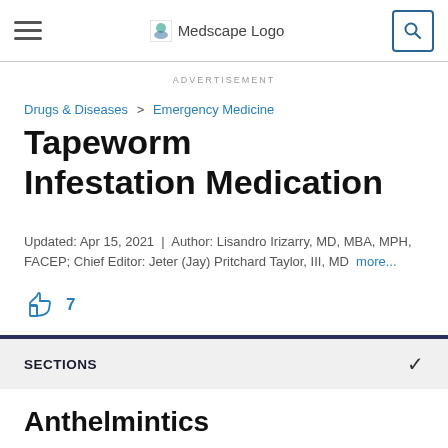Medscape Logo
ADVERTISEMENT
Drugs & Diseases > Emergency Medicine
Tapeworm Infestation Medication
Updated: Apr 15, 2021 | Author: Lisandro Irizarry, MD, MBA, MPH, FACEP; Chief Editor: Jeter (Jay) Pritchard Taylor, III, MD more...
7
SECTIONS
Anthelmintics